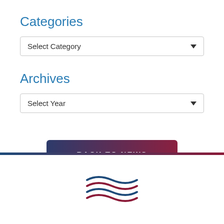Categories
Select Category
Archives
Select Year
BACK TO NEWS
[Figure (logo): Stylized wave logo with navy blue and red lines]